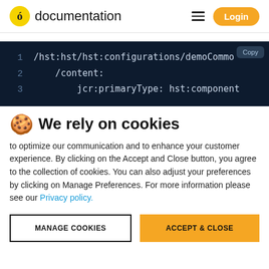documentation | Login
[Figure (screenshot): Code block showing YAML/path config lines: 1 /hst:hst/hst:configurations/demoCommo  2     /content:  3         jcr:primaryType: hst:component]
🍪 We rely on cookies
to optimize our communication and to enhance your customer experience. By clicking on the Accept and Close button, you agree to the collection of cookies. You can also adjust your preferences by clicking on Manage Preferences. For more information please see our Privacy policy.
MANAGE COOKIES | ACCEPT & CLOSE